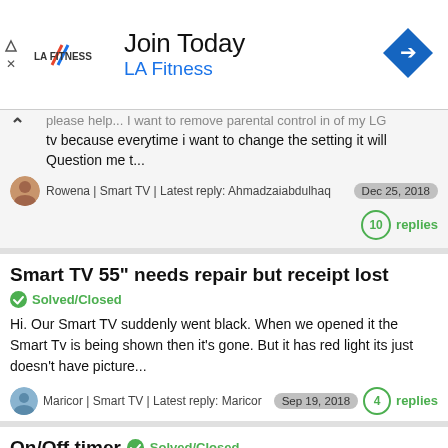[Figure (other): LA Fitness advertisement banner with logo, 'Join Today' heading, blue arrow navigation icon, and close controls]
please help... I want to remove parental control in of my LG tv because everytime i want to change the setting it will Question me t...
Rowena | Smart TV | Latest reply: Ahmadzaiabdulhaq   Dec 25, 2018   10 replies
Smart TV 55" needs repair but receipt lost
Solved/Closed
Hi. Our Smart TV suddenly went black. When we opened it the Smart Tv is being shown then it's gone. But it has red light its just doesn't have picture...
Maricor | Smart TV | Latest reply: Maricor   Sep 19, 2018   4 replies
On/Off timer  Solved/Closed
Can the timer be set to turn the TV on at any given time of the day? Like using it to come on in the morning as an alarm clock to wake you